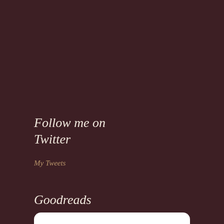Follow me on Twitter
My Tweets
Goodreads
[Figure (logo): Goodreads widget showing the Goodreads logo inside a white rounded rectangle with an inner bordered box]
Archives